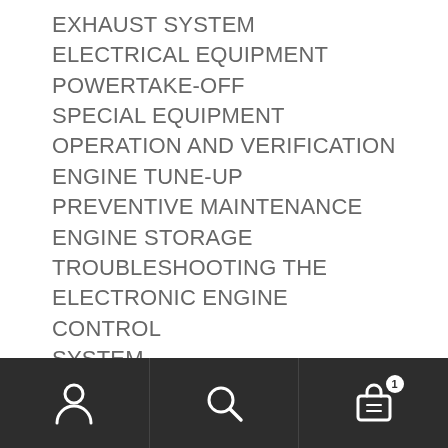EXHAUST SYSTEM
ELECTRICAL EQUIPMENT
POWERTAKE-OFF
SPECIAL EQUIPMENT
OPERATION AND VERIFICATION
ENGINE TUNE-UP
PREVENTIVE MAINTENANCE
ENGINE STORAGE
TROUBLESHOOTING THE ELECTRONIC ENGINE CONTROL SYSTEM
GENERAL MECHANICAL TROUBLESHOOTING
LOW POWER CONCERN
INDEX